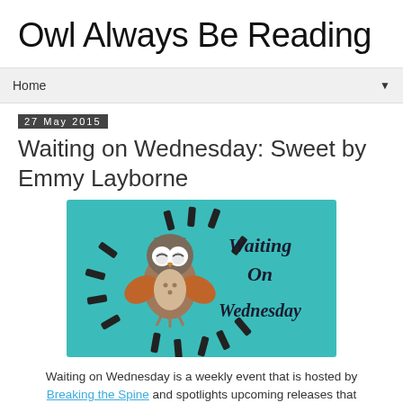Owl Always Be Reading
Home
27 May 2015
Waiting on Wednesday: Sweet by Emmy Layborne
[Figure (illustration): Waiting on Wednesday banner image: teal/turquoise background with a cartoon owl in the center with wings spread, surrounded by scattered dark dashes/marks radiating outward, with cursive text reading 'Waiting On Wednesday' on the right side.]
Waiting on Wednesday is a weekly event that is hosted by Breaking the Spine and spotlights upcoming releases that